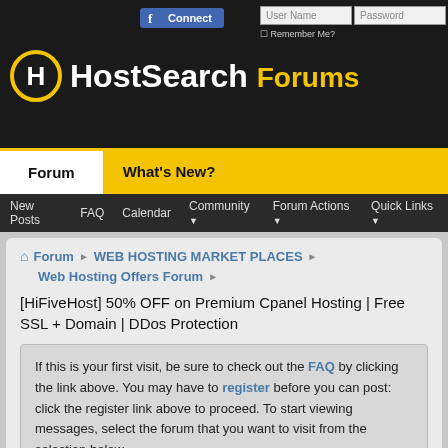[Figure (screenshot): HostSearch Forums website header with logo, Facebook Connect button, login fields, navigation tabs (Forum, What's New?), and sub-navigation bar (New Posts, FAQ, Calendar, Community, Forum Actions, Quick Links)]
Forum ▸ WEB HOSTING MARKET PLACES ▸ Web Hosting Offers Forum ▸
[HiFiveHost] 50% OFF on Premium Cpanel Hosting | Free SSL + Domain | DDos Protection
If this is your first visit, be sure to check out the FAQ by clicking the link above. You may have to register before you can post: click the register link above to proceed. To start viewing messages, select the forum that you want to visit from the selection below.
Results 1 to 1 of 1